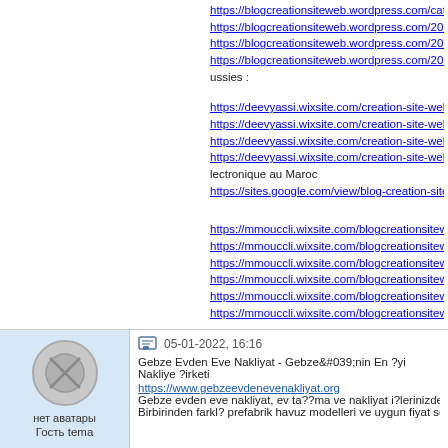https://blogcreationsiteweb.wordpress.com/category/creationsiteweb https://blogcreationsiteweb.wordpress.com/2021/12/30/experts-en-pre https://blogcreationsiteweb.wordpress.com/2021/12/30/solutions-de-cr https://blogcreationsiteweb.wordpress.com/2021/12/30/conseils-pour-l ussies :
https://deevyassi.wixsite.com/creation-site-web/ Cr?ez votre propre site https://deevyassi.wixsite.com/creation-site-web/post/blog-cr?ation-site- https://deevyassi.wixsite.com/creation-site-web/post/cr?ation-de-site-e https://deevyassi.wixsite.com/creation-site-web/post/meilleure-entrepri lectronique au Maroc https://sites.google.com/view/blog-creation-site-web/accueil blog creat
https://mmouccli.wixsite.com/blogcreationsiteweb/ Agence de creation https://mmouccli.wixsite.com/blogcreationsiteweb/blog blogyy - Creatio https://mmouccli.wixsite.com/blogcreationsiteweb/?-propos/ Site Web e https://mmouccli.wixsite.com/blogcreationsiteweb/post/cr?ation-de-site https://mmouccli.wixsite.com/blogcreationsiteweb/post/cr?ation-site-we https://mmouccli.wixsite.com/blogcreationsiteweb/post/cr?er-un-site-int https://mmouccli.wixsite.com/blogcreationsiteweb/post/d?veloppement https://mmouccli.wixsite.com/blogcreationsiteweb/post/services-de-cr?
https://sites.google.com/view/actualits-creation-site-web/accueil Blog - https://blogactualites2024.blogspot.com/ blog https://blogactualites2024.blogspot.com/2022/01/blog-actualites.html b https://blogactualites2024.blogspot.com/2020/10/top-meilleurs-blog-du
05-01-2022, 16:16
Gebze Evden Eve Nakliyat - Gebze&#039;nin En ?yi Nakliye ?irketi
https://www.gebzeevdenevenakliyat.org
Gebze evden eve nakliyat, ev ta??ma ve nakliyat i?lerinizde uygun fiya Birbirinden farkl? prefabrik havuz modelleri ve uygun fiyat se?enekleri